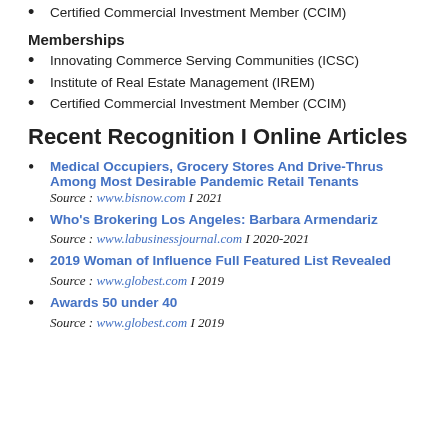Certified Commercial Investment Member (CCIM)
Memberships
Innovating Commerce Serving Communities (ICSC)
Institute of Real Estate Management (IREM)
Certified Commercial Investment Member (CCIM)
Recent Recognition I Online Articles
Medical Occupiers, Grocery Stores And Drive-Thrus Among Most Desirable Pandemic Retail Tenants
Source : www.bisnow.com I 2021
Who's Brokering Los Angeles: Barbara Armendariz
Source : www.labusinessjournal.com I 2020-2021
2019 Woman of Influence Full Featured List Revealed
Source : www.globest.com I 2019
Awards 50 under 40
Source : www.globest.com I 2019